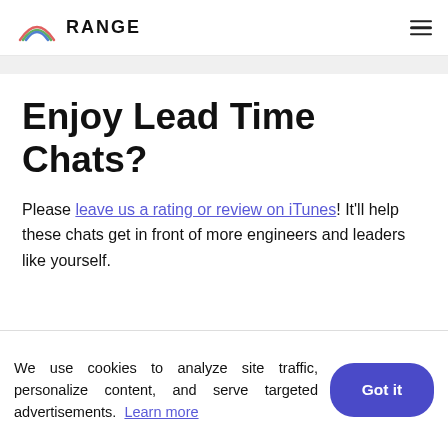RANGE
Enjoy Lead Time Chats?
Please leave us a rating or review on iTunes! It'll help these chats get in front of more engineers and leaders like yourself.
We use cookies to analyze site traffic, personalize content, and serve targeted advertisements. Learn more